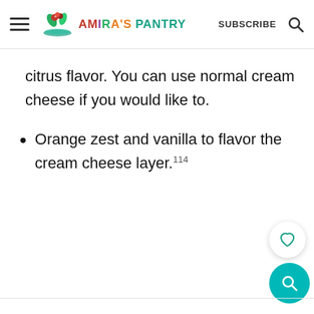Amira's Pantry — SUBSCRIBE
citrus flavor. You can use normal cream cheese if you would like to.
Orange zest and vanilla to flavor the cream cheese layer.114